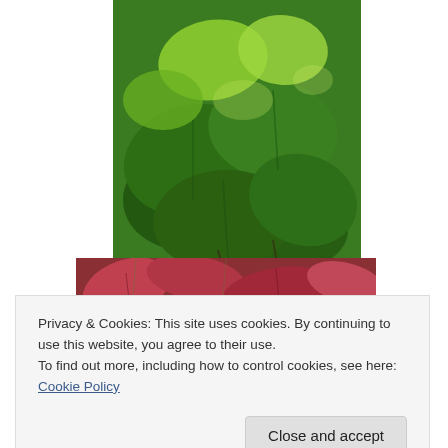[Figure (photo): Close-up photo of large, crinkled dark green leaves of a plant, photographed in bright natural light with other greenery in the background.]
[Figure (photo): Close-up photo of reddish-pink leaves, partially visible below the green plant photo.]
Privacy & Cookies: This site uses cookies. By continuing to use this website, you agree to their use.
To find out more, including how to control cookies, see here: Cookie Policy
Close and accept
[Figure (photo): Bottom portion of reddish plant photo, partially cut off at bottom of page.]